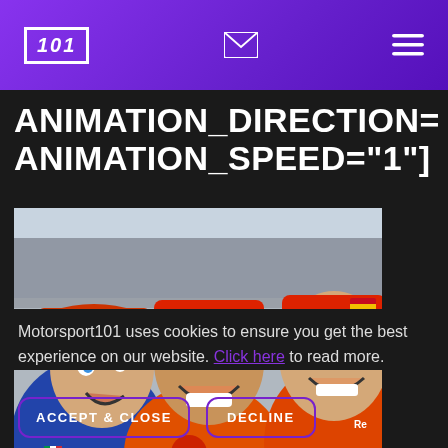101 [logo] [envelope icon] [menu icon]
ANIMATION_DIRECTION= RIGHT ANIMATION_SPEED="1"]
[Figure (photo): Selfie photo of three MotoGP riders smiling at camera, wearing race suits and caps (Bridgestone, Red Bull/Repsol Honda), with a packed grandstand visible in the background.]
Motorsport101 uses cookies to ensure you get the best experience on our website. Click here to read more.
ACCEPT & CLOSE   DECLINE